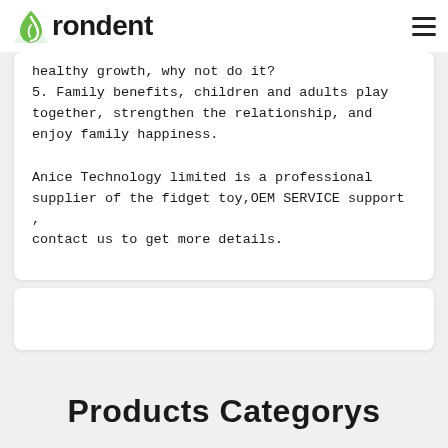Frondent
healthy growth, why not do it?
5. Family benefits, children and adults play together, strengthen the relationship, and enjoy family happiness.
Anice Technology limited is a professional supplier of the fidget toy,OEM SERVICE support , contact us to get more details.
Products Categorys